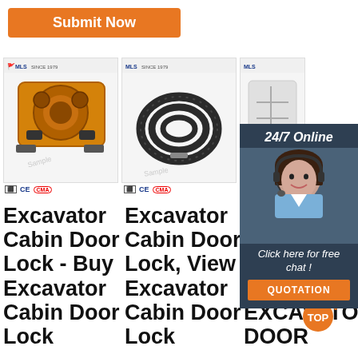[Figure (other): Orange Submit Now button at top left]
[Figure (photo): Product photo: orange industrial excavator cabin door lock mechanism with mounting hardware]
[Figure (photo): Product photo: coiled black rubber hose/pipe on white background]
[Figure (photo): Partially visible third product photo]
[Figure (other): 24/7 Online chat overlay with female agent photo, 'Click here for free chat!' text, and orange QUOTATION button]
Excavator Cabin Door Lock - Buy Excavator Cabin Door Lock
Excavator Cabin Door Lock, View Excavator Cabin Door Lock
BO... SE... 1/2' POLYCARE EXCAVATO DOOR